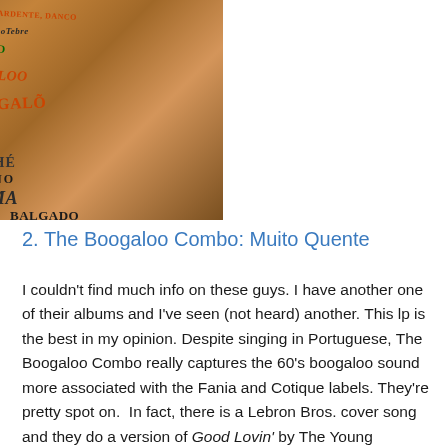[Figure (photo): Close-up photograph of a hand with album cover artwork showing words written in various colorful fonts, including 'Ritmo Ardente', 'dance', 'boogaloo', 'Membruno', 'Nemcha-Che', and other Portuguese/Spanish dance music terms. Dark background with a hand visible on the right side.]
2. The Boogaloo Combo: Muito Quente
I couldn't find much info on these guys. I have another one of their albums and I've seen (not heard) another. This lp is the best in my opinion. Despite singing in Portuguese, The Boogaloo Combo really captures the 60's boogaloo sound more associated with the Fania and Cotique labels. They're pretty spot on.  In fact, there is a Lebron Bros. cover song and they do a version of Good Lovin' by The Young Rascals. Muito Quente!!!!!!!!! (so